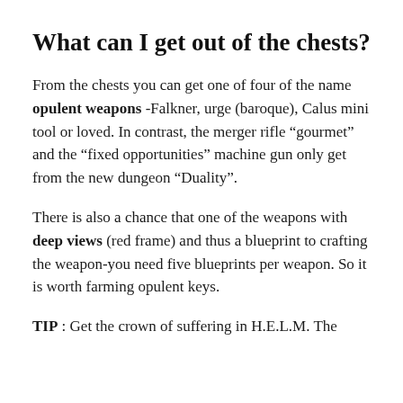What can I get out of the chests?
From the chests you can get one of four of the name opulent weapons -Falkner, urge (baroque), Calus mini tool or loved. In contrast, the merger rifle “gourmet” and the “fixed opportunities” machine gun only get from the new dungeon “Duality”.
There is also a chance that one of the weapons with deep views (red frame) and thus a blueprint to crafting the weapon-you need five blueprints per weapon. So it is worth farming opulent keys.
TIP : Get the crown of suffering in H.E.L.M. The